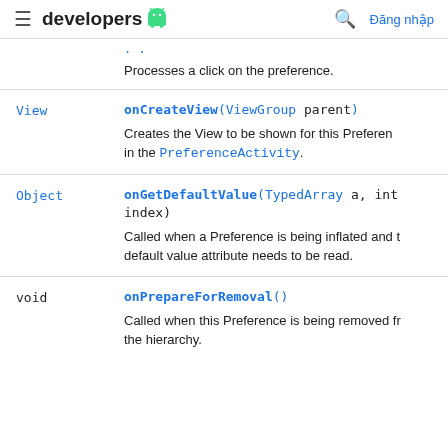developers | Đăng nhập
Processes a click on the preference.
| Type | Method |
| --- | --- |
| View | onCreateView(ViewGroup parent)
Creates the View to be shown for this Preference in the PreferenceActivity. |
| Object | onGetDefaultValue(TypedArray a, int index)
Called when a Preference is being inflated and the default value attribute needs to be read. |
| void | onPrepareForRemoval()
Called when this Preference is being removed from the hierarchy. |